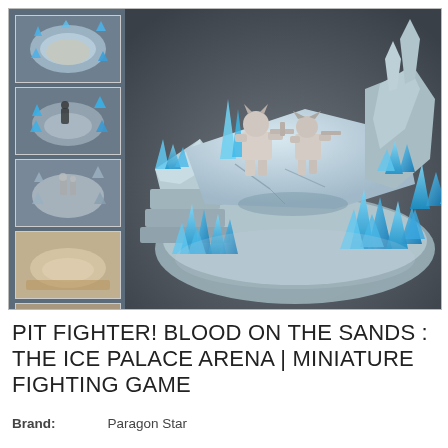[Figure (photo): Product listing image showing a miniature tabletop gaming diorama: an ice palace arena scene with blue crystal formations, icy rock terrain, and two armored warrior figurines on top. Left side shows a vertical strip of 6 smaller thumbnail images of the same product from different angles (some unpainted/grey, some painted). Main large image shows the colored diorama from a front-angled perspective on a dark grey background.]
PIT FIGHTER! BLOOD ON THE SANDS : THE ICE PALACE ARENA | MINIATURE FIGHTING GAME
Brand:  Paragon Star